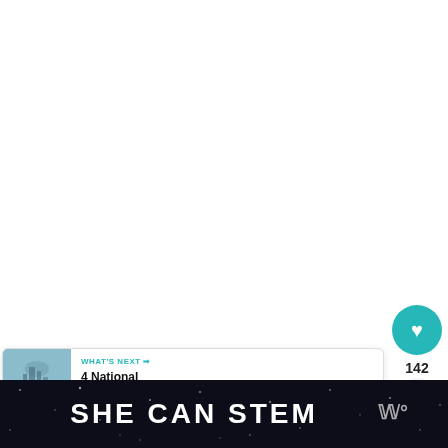[Figure (screenshot): Dark navy blue top bar on a webpage]
[Figure (infographic): Heart/like button (teal circle with heart icon) showing 142 likes, and a share button below]
142
[Figure (infographic): What's Next card with thumbnail of National Trust landscape and text '4 National Trust Days...']
WHAT'S NEXT → 4 National Trust Days...
[Figure (infographic): Bottom banner with dark background, star pattern, reading 'SHE CAN STEM' with Mastercard logo on right]